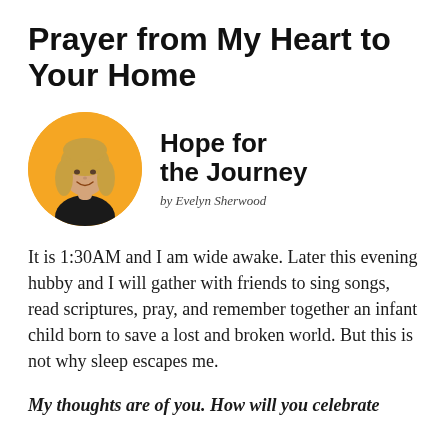Prayer from My Heart to Your Home
[Figure (photo): Circular portrait photo of a woman with blonde shoulder-length hair, smiling, wearing a dark top, against an orange background. Next to the photo is the column title 'Hope for the Journey' and byline 'by Evelyn Sherwood'.]
It is 1:30AM and I am wide awake. Later this evening hubby and I will gather with friends to sing songs, read scriptures, pray, and remember together an infant child born to save a lost and broken world. But this is not why sleep escapes me.
My thoughts are of you. How will you celebrate